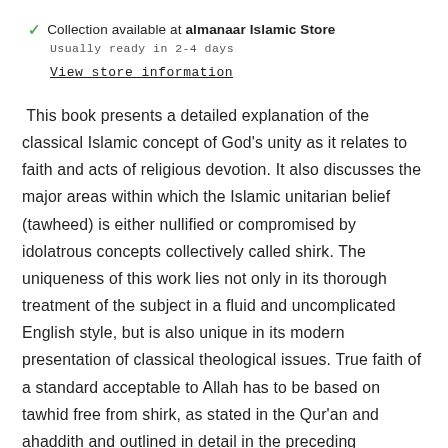✓ Collection available at almanaar Islamic Store
Usually ready in 2-4 days
View store information
This book presents a detailed explanation of the classical Islamic concept of God's unity as it relates to faith and acts of religious devotion. It also discusses the major areas within which the Islamic unitarian belief (tawheed) is either nullified or compromised by idolatrous concepts collectively called shirk. The uniqueness of this work lies not only in its thorough treatment of the subject in a fluid and uncomplicated English style, but is also unique in its modern presentation of classical theological issues. True faith of a standard acceptable to Allah has to be based on tawhid free from shirk, as stated in the Qur'an and ahaddith and outlined in detail in the preceding chapters. Anything less than that